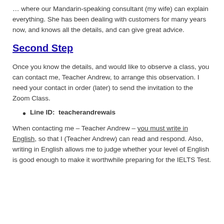… where our Mandarin-speaking consultant (my wife) can explain everything. She has been dealing with customers for many years now, and knows all the details, and can give great advice.
Second Step
Once you know the details, and would like to observe a class, you can contact me, Teacher Andrew, to arrange this observation. I need your contact in order (later) to send the invitation to the Zoom Class.
Line ID:  teacherandrewais
When contacting me – Teacher Andrew – you must write in English, so that I (Teacher Andrew) can read and respond. Also, writing in English allows me to judge whether your level of English is good enough to make it worthwhile preparing for the IELTS Test.